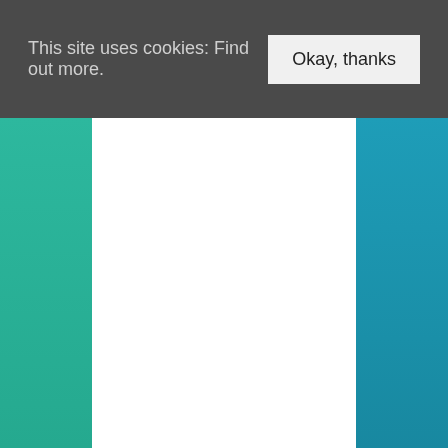This site uses cookies: Find out more. Okay, thanks
[Figure (screenshot): Cookie consent banner overlay on a webpage with teal/green left sidebar and teal/blue right sidebar, white center content area below the banner]